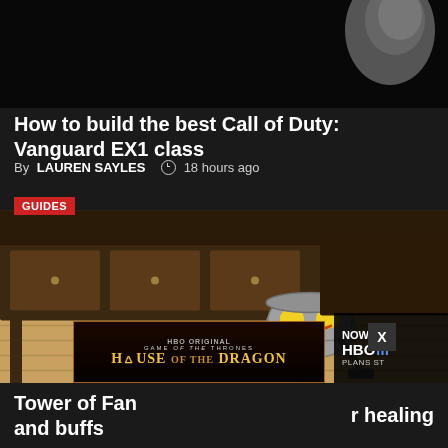[Figure (photo): Dark background image, top portion of article, hand/figure visible in upper right corner]
How to build the best Call of Duty: Vanguard EX1 class
By LAUREN SAYLES  18 hours ago
[Figure (photo): Game screenshot showing a small robot creature with an angry face standing on wooden floor in front of a dresser. A red GUIDES badge is in the top left. An X close button and HBO House of the Dragon advertisement overlay are visible at the bottom.]
Tower of Fan  r healing and buffs
[Figure (advertisement): HBO Original Game of Thrones House of the Dragon advertisement banner]